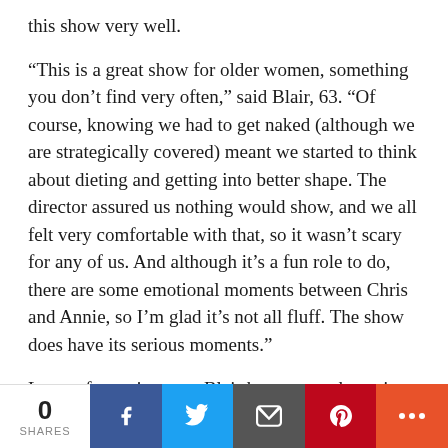this show very well.
“This is a great show for older women, something you don’t find very often,” said Blair, 63. “Of course, knowing we had to get naked (although we are strategically covered) meant we started to think about dieting and getting into better shape. The director assured us nothing would show, and we all felt very comfortable with that, so it wasn’t scary for any of us. And although it’s a fun role to do, there are some emotional moments between Chris and Annie, so I’m glad it’s not all fluff. The show does have its serious moments.”
Later, after retirement, Blair hopes to make acting a full-time career. “I do hope to keep acting and maybe be in a professional production some day.
0 SHARES | Facebook | Twitter | Email | Pinterest | More